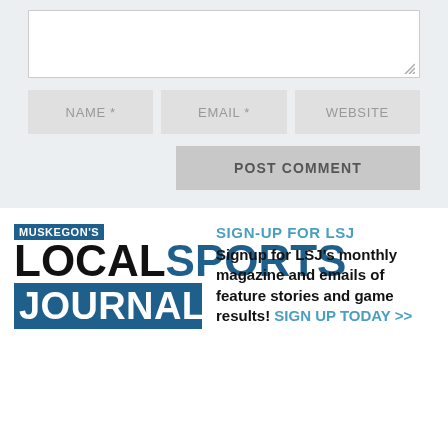[Figure (screenshot): Comment form with textarea, name/email/website fields, and POST COMMENT button on light grey background]
[Figure (logo): Muskegon's Local Sports Journal logo with blue and black typography]
SIGN-UP FOR LSJ
Signup for LSJ's monthly magazine and emails of feature stories and game results! SIGN UP TODAY >>